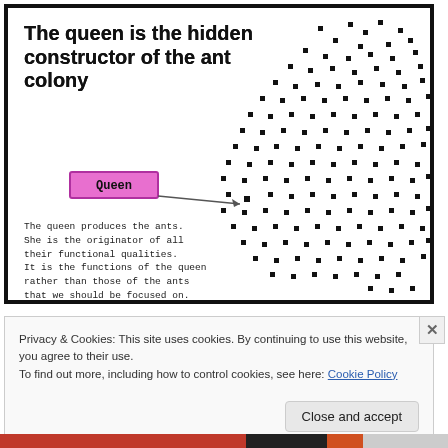The queen is the hidden constructor of the ant colony
[Figure (illustration): Scatter plot of small black square dots representing ants arranged in a colony shape on the right side of the figure. A pink/magenta labeled box 'Queen' with an arrow pointing toward a dot in the lower-left area of the cluster.]
The queen produces the ants. She is the originator of all their functional qualities. It is the functions of the queen rather than those of the ants that we should be focused on.
Privacy & Cookies: This site uses cookies. By continuing to use this website, you agree to their use.
To find out more, including how to control cookies, see here: Cookie Policy